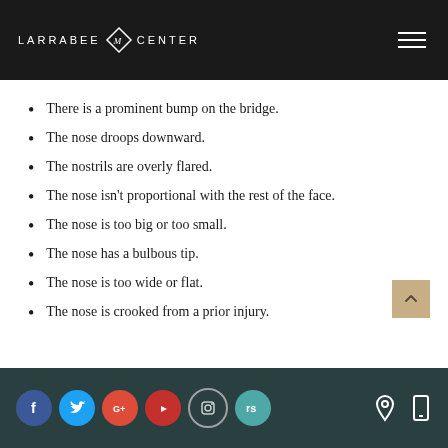LARRABEE CENTER
There is a prominent bump on the bridge.
The nose droops downward.
The nostrils are overly flared.
The nose isn't proportional with the rest of the face.
The nose is too big or too small.
The nose has a bulbous tip.
The nose is too wide or flat.
The nose is crooked from a prior injury.
Social media icons: Facebook, Twitter, Google+, YouTube, Instagram, RealSelf; Location icon; Mobile icon